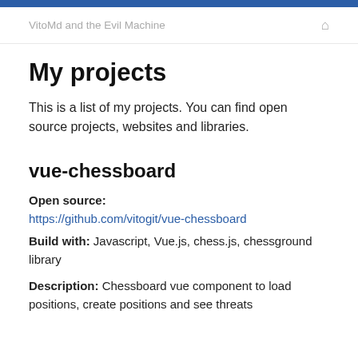VitoMd and the Evil Machine
My projects
This is a list of my projects. You can find open source projects, websites and libraries.
vue-chessboard
Open source: https://github.com/vitogit/vue-chessboard
Build with: Javascript, Vue.js, chess.js, chessground library
Description: Chessboard vue component to load positions, create positions and see threats